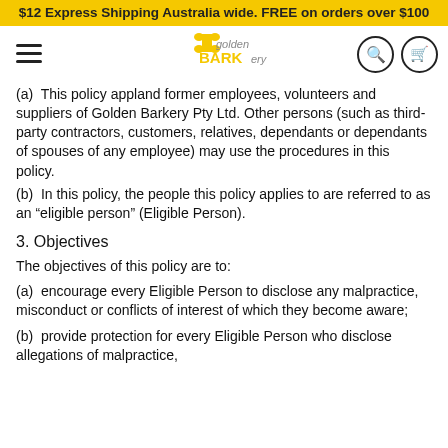$12 Express Shipping Australia wide. FREE on orders over $100
[Figure (logo): Golden Barkery logo with dog bone and text]
(a)  This policy applies to all current and former employees, volunteers and suppliers of Golden Barkery Pty Ltd. Other persons (such as third-party contractors, customers, relatives, dependants or dependants of spouses of any employee) may use the procedures in this policy.
(b)  In this policy, the people this policy applies to are referred to as an “eligible person” (Eligible Person).
3. Objectives
The objectives of this policy are to:
(a)  encourage every Eligible Person to disclose any malpractice, misconduct or conflicts of interest of which they become aware;
(b)  provide protection for every Eligible Person who disclose allegations of malpractice,